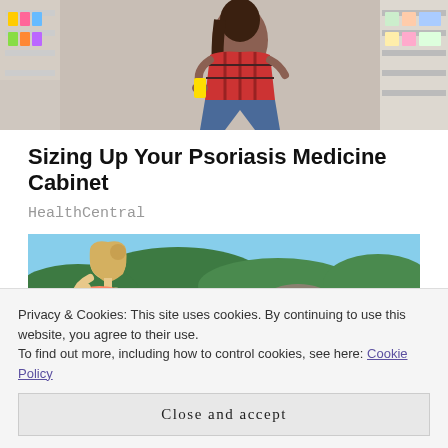[Figure (photo): Woman in red plaid shirt crouching in a pharmacy aisle, examining a product from a shelf filled with colorful items. Pharmacy shelves visible in background.]
Sizing Up Your Psoriasis Medicine Cabinet
HealthCentral
[Figure (photo): Blonde woman sitting by a lake, head bowed, with forested rocky shoreline and blue sky in the background.]
Privacy & Cookies: This site uses cookies. By continuing to use this website, you agree to their use.
To find out more, including how to control cookies, see here: Cookie Policy
Close and accept